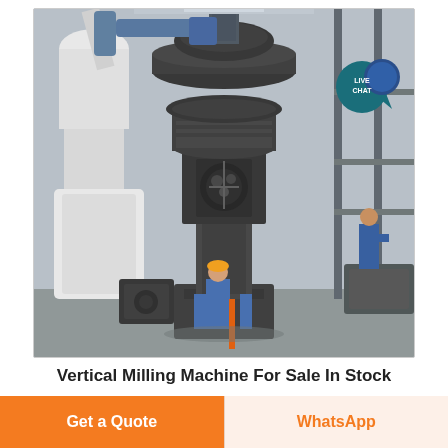[Figure (photo): Large vertical milling machine (ball mill / Raymond mill) in an industrial factory setting. Two workers in blue uniforms are visible — one standing in front of the machine and one standing on an elevated platform to the right. The machine is a tall cylindrical dark metal structure with a large disc-shaped top section and ductwork. White ducting and steel structural beams are visible in the background. A 'LIVE CHAT' speech-bubble icon is overlaid in the upper-right corner of the image.]
Vertical Milling Machine For Sale In Stock
Get a Quote
WhatsApp